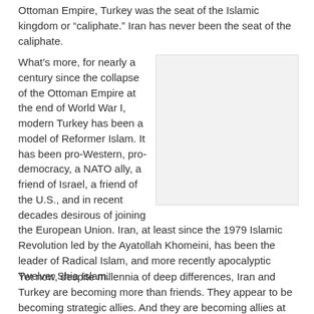Ottoman Empire, Turkey was the seat of the Islamic kingdom or “caliphate.” Iran has never been the seat of the caliphate.
What’s more, for nearly a century since the collapse of the Ottoman Empire at the end of World War I, modern Turkey has been a model of Reformer Islam. It has been pro-Western, pro-democracy, a NATO ally, a friend of Israel, a friend of the U.S., and in recent decades desirous of joining the European Union. Iran, at least since the 1979 Islamic Revolution led by the Ayatollah Khomeini, has been the leader of Radical Islam, and more recently apocalyptic Twelver Shia Islam.
[Figure (photo): A blank or white image placeholder]
Yet now, despite millennia of deep differences, Iran and Turkey are becoming more than friends. They appear to be becoming strategic allies. And they are becoming allies at